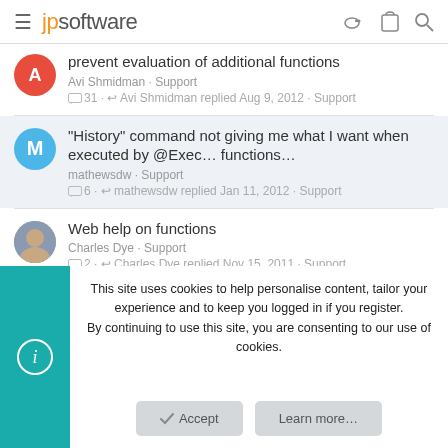jpsoftware
prevent evaluation of additional functions
Avi Shmidman · Support
31 · Avi Shmidman replied Aug 9, 2012 · Support
"History" command not giving me what I want when executed by @Exec… functions…
mathewsdw · Support
6 · mathewsdw replied Jan 11, 2012 · Support
Web help on functions
Charles Dye · Support
2 · Charles Dye replied Nov 15, 2011 · Support
This site uses cookies to help personalise content, tailor your experience and to keep you logged in if you register.
By continuing to use this site, you are consenting to our use of cookies.